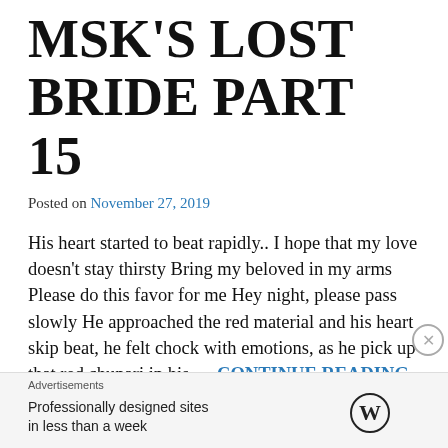MSK'S LOST BRIDE PART 15
Posted on November 27, 2019
His heart started to beat rapidly.. I hope that my love doesn't stay thirsty Bring my beloved in my arms Please do this favor for me Hey night, please pass slowly He approached the red material and his heart skip beat, he felt chock with emotions, as he pick up that red chunari in his … CONTINUE READING
Advertisements
Professionally designed sites in less than a week